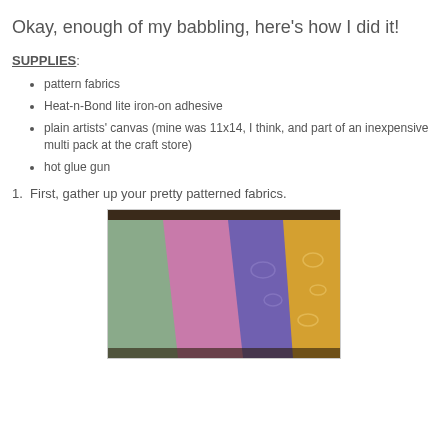Okay, enough of my babbling, here's how I did it!
SUPPLIES:
pattern fabrics
Heat-n-Bond lite iron-on adhesive
plain artists' canvas (mine was 11x14, I think, and part of an inexpensive multi pack at the craft store)
hot glue gun
1.  First, gather up your pretty patterned fabrics.
[Figure (photo): Photo of four patterned fabric swatches fanned out: green/grey textured, pink/mauve, purple with swirl pattern, and yellow/gold with decorative swirl pattern]